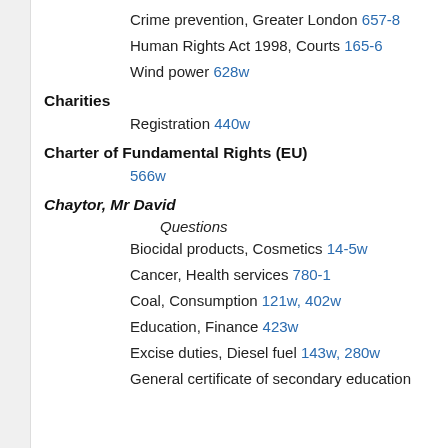Crime prevention, Greater London 657-8
Human Rights Act 1998, Courts 165-6
Wind power 628w
Charities
Registration 440w
Charter of Fundamental Rights (EU)
566w
Chaytor, Mr David
Questions
Biocidal products, Cosmetics 14-5w
Cancer, Health services 780-1
Coal, Consumption 121w, 402w
Education, Finance 423w
Excise duties, Diesel fuel 143w, 280w
General certificate of secondary education